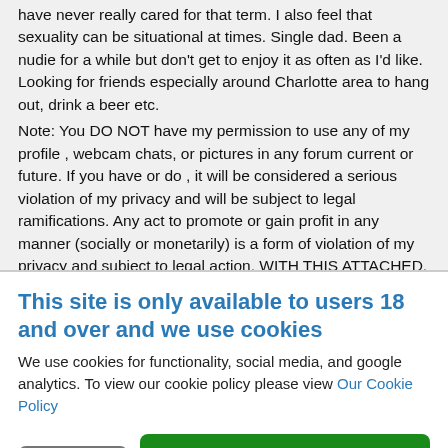have never really cared for that term. I also feel that sexuality can be situational at times. Single dad. Been a nudie for a while but don't get to enjoy it as often as I'd like. Looking for friends especially around Charlotte area to hang out, drink a beer etc.

Note: You DO NOT have my permission to use any of my profile , webcam chats, or pictures in any forum current or future. If you have or do , it will be considered a serious violation of my privacy and will be subject to legal ramifications. Any act to promote or gain profit in any manner (socially or monetarily) is a form of violation of my privacy and subject to legal action. WITH THIS ATTACHED, you acknowledge and agree that you shall not repost , upload, publish or transmit any content from this page including
This site is only available to users 18 and over and we use cookies
We use cookies for functionality, social media, and google analytics. To view our cookie policy please view Our Cookie Policy